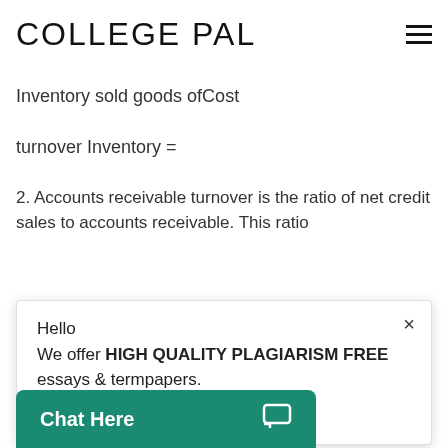COLLEGE PAL
1. Inventory turnover is the ratio of cost of goods sold to inventory. It indicates how many times inventory is created and sold during the period.
2. Accounts receivable turnover is the ratio of net credit sales to accounts receivable. This ratio
Hello
We offer HIGH QUALITY PLAGIARISM FREE essays & termpapers.

Chat...
Peterson Drake 7
Chat Here